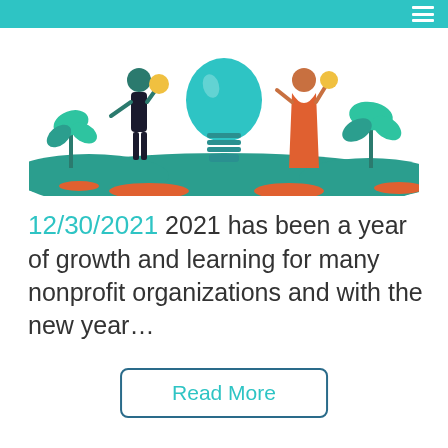[Figure (illustration): Colorful flat-style illustration showing two figures (a person holding a globe and a person holding coins) with a large lightbulb, plants, and green hills in a teal and orange color scheme]
12/30/2021 2021 has been a year of growth and learning for many nonprofit organizations and with the new year…
Read More